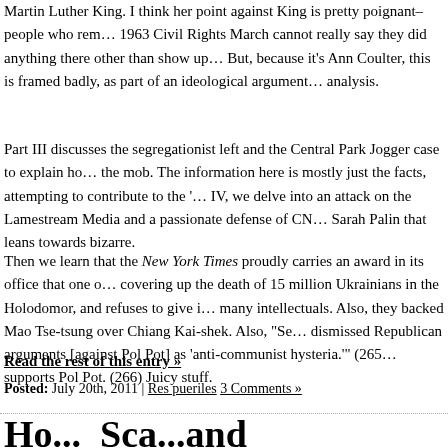Martin Luther King. I think her point against King is pretty poignant–people who rem… 1963 Civil Rights March cannot really say they did anything there other than show up… But, because it's Ann Coulter, this is framed badly, as part of an ideological argument… analysis.
Part III discusses the segregationist left and the Central Park Jogger case to explain ho… the mob. The information here is mostly just the facts, attempting to contribute to the '… IV, we delve into an attack on the Lamestream Media and a passionate defense of CN… Sarah Palin that leans towards bizarre.
Then we learn that the New York Times proudly carries an award in its office that one o… covering up the death of 15 million Ukrainians in the Holodomor, and refuses to give i… many intellectuals. Also, they backed Mao Tse-tsung over Chiang Kai-shek. Also, "Se… dismissed Republican arguments [against Pol Pot] as 'anti-communist hysteria.'" (265… supports Pol Pot. (266) Juicy stuff.
Read the rest of this entry »
Posted: July 20th, 2011 | Res pueriles 3 Comments »
Ho...Sca...and D...ould...D...